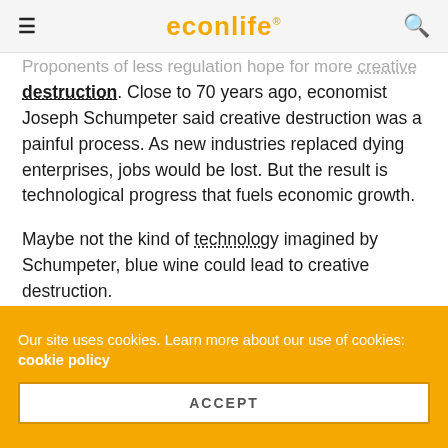econlife®
Proponents of less regulation hope for more creative destruction. Close to 70 years ago, economist Joseph Schumpeter said creative destruction was a painful process. As new industries replaced dying enterprises, jobs would be lost. But the result is technological progress that fuels economic growth.

Maybe not the kind of technology imagined by Schumpeter, blue wine could lead to creative destruction.

My sources and more: Yesterday's walk was a pleasure because of an Econtalk podcast on Europe. Together, the podcast and two articles, here and here, conveyed the blue
Our site uses cookies. Learn more about our use of cookies: cookie policy
ACCEPT